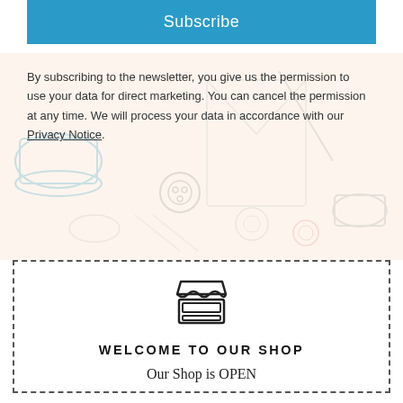Subscribe
By subscribing to the newsletter, you give us the permission to use your data for direct marketing. You can cancel the permission at any time. We will process your data in accordance with our Privacy Notice.
[Figure (illustration): Decorative background illustration of sewing/crafting items: thread spools, buttons, needles, scissors, fabric, on a warm beige background]
[Figure (illustration): Shop/store front icon — a simple black outline of a market stall or shop window]
WELCOME TO OUR SHOP
Our Shop is OPEN